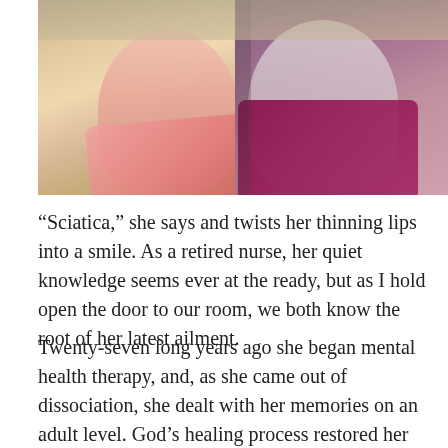[Figure (photo): Photograph of two women side by side, one wearing a pink scarf and the other wearing a dark magenta/purple patterned top with a lanyard. Only the lower portions of their faces and their upper bodies are visible.]
“Sciatica,” she says and twists her thinning lips into a smile. As a retired nurse, her quiet knowledge seems ever at the ready, but as I hold open the door to our room, we both know the root of her latest ailment.
Twenty-seven long years ago she began mental health therapy, and, as she came out of dissociation, she dealt with her memories on an adult level. God’s healing process restored her mind and heart, but her body continues to suffer the consequence of unimaginable evil.
As a child, she depleted her energy quotient, for how else does one run off nervous trauma when a perpetrator